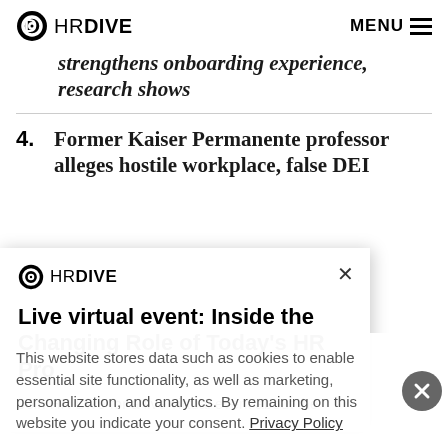HR DIVE  MENU
strengthens onboarding experience, research shows
4. Former Kaiser Permanente professor alleges hostile workplace, false DEI
[Figure (screenshot): HR Dive modal popup with close button (x), showing logo, title 'Live virtual event: Inside the Changing Role of Today's HR Pro', and text 'Join HR Dive for a live virtual event about the']
This website stores data such as cookies to enable essential site functionality, as well as marketing, personalization, and analytics. By remaining on this website you indicate your consent. Privacy Policy